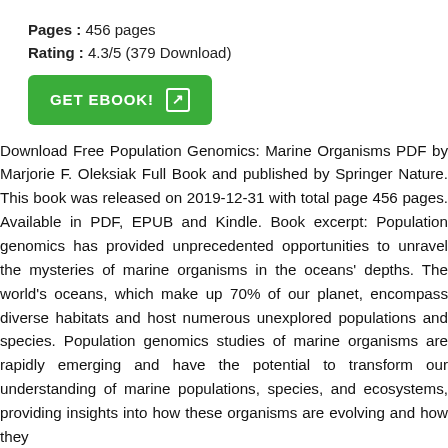Pages : 456 pages
Rating : 4.3/5 (379 Download)
[Figure (other): Green button labeled GET EBOOK! with arrow icon]
Download Free Population Genomics: Marine Organisms PDF by Marjorie F. Oleksiak Full Book and published by Springer Nature. This book was released on 2019-12-31 with total page 456 pages. Available in PDF, EPUB and Kindle. Book excerpt: Population genomics has provided unprecedented opportunities to unravel the mysteries of marine organisms in the oceans' depths. The world's oceans, which make up 70% of our planet, encompass diverse habitats and host numerous unexplored populations and species. Population genomics studies of marine organisms are rapidly emerging and have the potential to transform our understanding of marine populations, species, and ecosystems, providing insights into how these organisms are evolving and how they